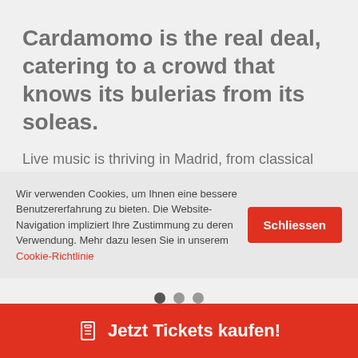Cardamomo is the real deal, catering to a crowd that knows its bulerias from its soleas.
Live music is thriving in Madrid, from classical and opera to blues, rock and jazz, but the speciality is flamenco. It may seem odd that the music of the south is so
Wir verwenden Cookies, um Ihnen eine bessere Benutzererfahrung zu bieten. Die Website-Navigation impliziert Ihre Zustimmung zu deren Verwendung. Mehr dazu lesen Sie in unserem Cookie-Richtlinie
Jetzt Tickets kaufen!